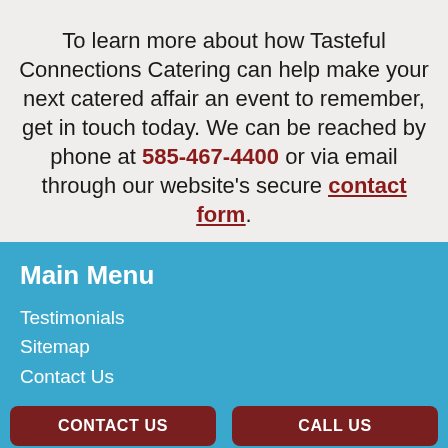To learn more about how Tasteful Connections Catering can help make your next catered affair an event to remember, get in touch today. We can be reached by phone at 585-467-4400 or via email through our website's secure contact form.
Main Menu
Testimonials
Sitemap
Contact Us
CONTACT US | CALL US